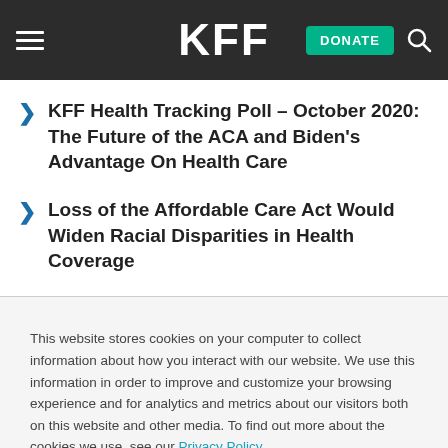KFF | DONATE
KFF Health Tracking Poll – October 2020: The Future of the ACA and Biden's Advantage On Health Care
Loss of the Affordable Care Act Would Widen Racial Disparities in Health Coverage
This website stores cookies on your computer to collect information about how you interact with our website. We use this information in order to improve and customize your browsing experience and for analytics and metrics about our visitors both on this website and other media. To find out more about the cookies we use, see our Privacy Policy.
Accept